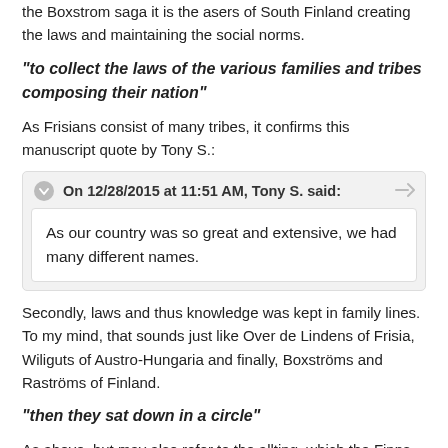the Boxstrom saga it is the asers of South Finland creating the laws and maintaining the social norms.
"to collect the laws of the various families and tribes composing their nation"
As Frisians consist of many tribes, it confirms this manuscript quote by Tony S.:
On 12/28/2015 at 11:51 AM, Tony S. said:
As our country was so great and extensive, we had many different names.
Secondly, laws and thus knowledge was kept in family lines. To my mind, that sounds just like Over de Lindens of Frisia, Wiliguts of Austro-Hungaria and finally, Boxströms and Raströms of Finland.
"then they sat down in a circle"
As above, but may also refer to the allting, which the Finns also had.